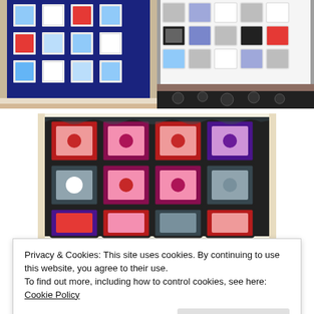[Figure (photo): Blue and white crochet granny square blanket draped over furniture]
[Figure (photo): Grey, white, blue and red crochet granny square blanket on furniture with animal print]
[Figure (photo): Dark black and multicolored crochet granny square blanket with red, pink, grey and white squares]
[Figure (photo): Partial view of another crochet blanket at bottom]
Privacy & Cookies: This site uses cookies. By continuing to use this website, you agree to their use.
To find out more, including how to control cookies, see here: Cookie Policy
Close and accept